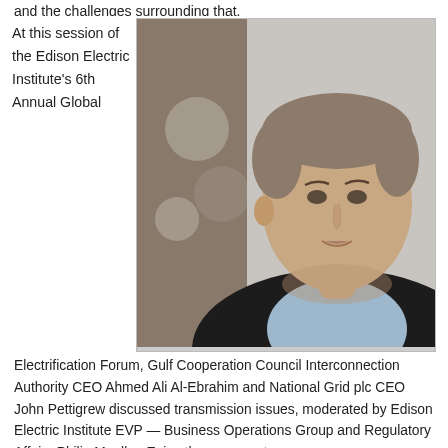and the challenges surrounding that.
At this session of the Edison Electric Institute's 6th Annual Global
[Figure (photo): Video screenshot of a man speaking, wearing a dark jacket and light blue shirt, with a neutral background.]
Electrification Forum, Gulf Cooperation Council Interconnection Authority CEO Ahmed Ali Al-Ebrahim and National Grid plc CEO John Pettigrew discussed transmission issues, moderated by Edison Electric Institute EVP — Business Operations Group and Regulatory Affairs Philip Moeller. Enjoy these excerpts.